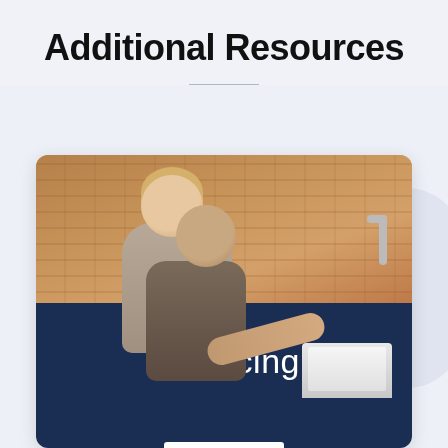Additional Resources
[Figure (photo): A smiling couple in a kitchen; woman hugging man from behind as he works on a laptop]
Financing